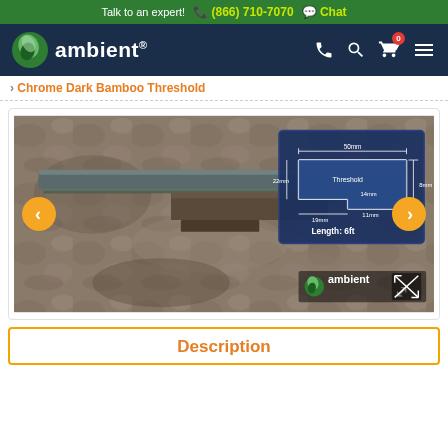Talk to an expert!  ☎ (866) 710-7070  ✉ Chat
[Figure (logo): Ambient flooring logo - green leaf icon with 'ambient' text on dark navy background with navigation icons]
Chrome Dark Bamboo Threshold
[Figure (photo): Chrome Dark Bamboo Threshold product photo showing a dark grey bamboo threshold strip on a stone/concrete background, with a blue cross-section diagram showing dimensions: 50mm width, 22mm height, 14mm step, 11mm bottom, 8mm top, 19mm base. Length: 6ft. Navigation arrows (left/right) in orange. Ambient logo watermark bottom right.]
Description